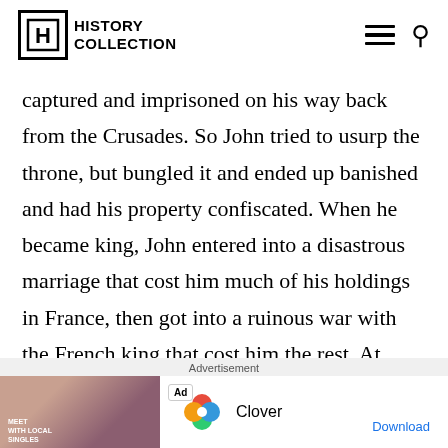HISTORY COLLECTION
captured and imprisoned on his way back from the Crusades. So John tried to usurp the throne, but bungled it and ended up banished and had his property confiscated. When he became king, John entered into a disastrous marriage that cost him much of his holdings in France, then got into a ruinous war with the French king that cost him the rest. At home, he got into an argument with an
Advertisement
[Figure (other): Advertisement banner for Clover app with photo of woman, Clover logo, and Download link]